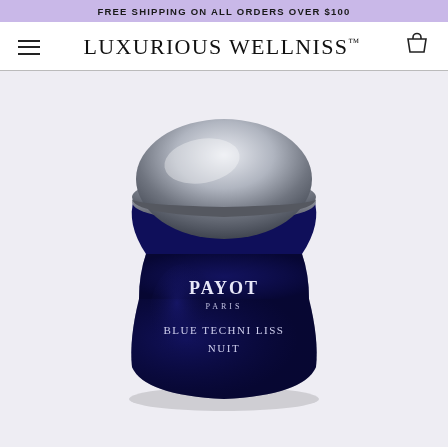FREE SHIPPING ON ALL ORDERS OVER $100
LUXURIOUS WELLNISS™
[Figure (photo): Payot Paris Blue Techni Liss Nuit night cream jar — dark navy blue glass jar with silver metallic lid, labeled PAYOT / PARIS / BLUE TECHNI LISS / NUIT, on a light gray background]